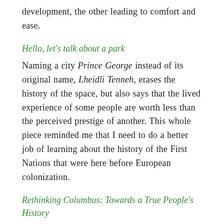development, the other leading to comfort and ease.
Hello, let's talk about a park
Naming a city Prince George instead of its original name, Lheidli Tenneh, erases the history of the space, but also says that the lived experience of some people are worth less than the perceived prestige of another. This whole piece reminded me that I need to do a better job of learning about the history of the First Nations that were here before European colonization.
Rethinking Columbus: Towards a True People's History
As someone who once lived in the District of